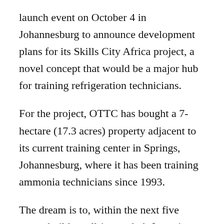launch event on October 4 in Johannesburg to announce development plans for its Skills City Africa project, a novel concept that would be a major hub for training refrigeration technicians.
For the project, OTTC has bought a 7-hectare (17.3 acres) property adjacent to its current training center in Springs, Johannesburg, where it has been training ammonia technicians since 1993.
The dream is to, within the next five years, build an all-in-one hub for artisans to train, work, and live so that they can go into the industry ready to “put up shop,” as Isolde Döbelin, OTTC Director, put it. “I want to train multi-skilled people who can go anywhere in the